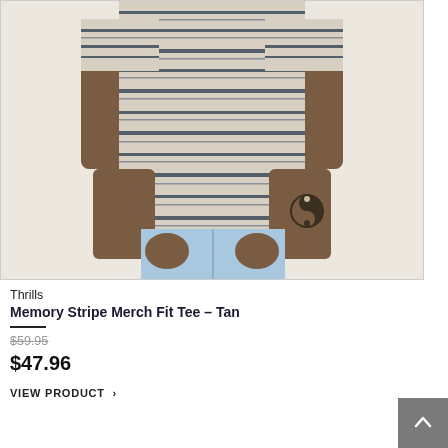[Figure (photo): A man wearing a beige/tan horizontal striped t-shirt (Memory Stripe Merch Fit Tee) and light blue jeans, shown from neck to thigh, with a yin-yang tattoo visible on right forearm.]
Thrills
Memory Stripe Merch Fit Tee – Tan
$59.95
$47.96
VIEW PRODUCT  >